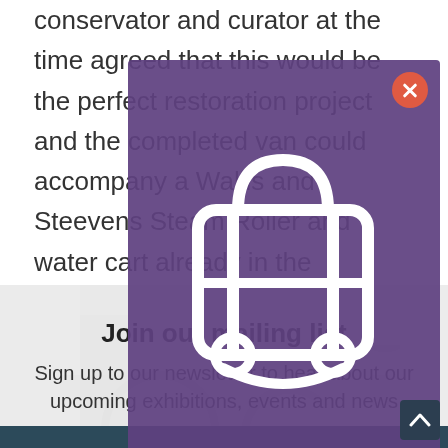conservator and curator at the time agreed that this would be the perfect restoration project and the completed van could accompany a Wallis and Steevens Steam Roller and water cart already in the transport collection at events around the country.
[Figure (screenshot): Purple modal overlay with a close button (red X circle) and a luggage/suitcase icon in white outline style]
[Figure (photo): Black and white historical photograph of a steam roller or traction engine with a person in a hat visible]
Join our mailing list
Sign up to our newsletter to hear about our upcoming exhibitions, events and news